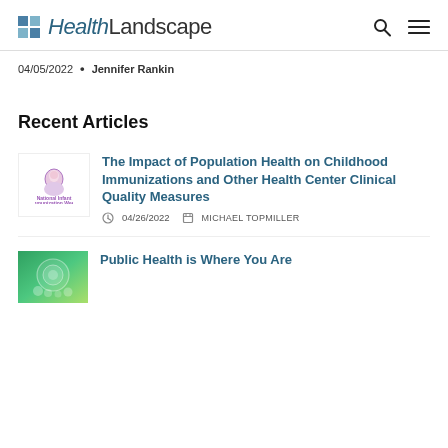HealthLandscape
04/05/2022 • Jennifer Rankin
Recent Articles
[Figure (logo): National Infant Immunization Week logo with purple text and baby icon]
The Impact of Population Health on Childhood Immunizations and Other Health Center Clinical Quality Measures
04/26/2022  MICHAEL TOPMILLER
[Figure (illustration): Green circular infographic thumbnail]
Public Health is Where You Are